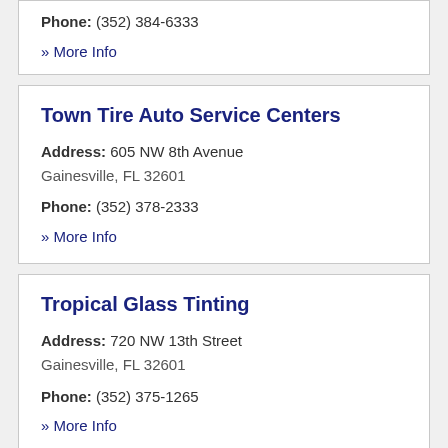Phone: (352) 384-6333
» More Info
Town Tire Auto Service Centers
Address: 605 NW 8th Avenue Gainesville, FL 32601
Phone: (352) 378-2333
» More Info
Tropical Glass Tinting
Address: 720 NW 13th Street Gainesville, FL 32601
Phone: (352) 375-1265
» More Info